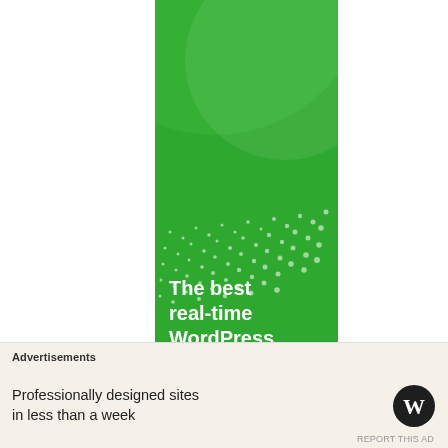[Figure (illustration): A vertical green advertisement banner for a WordPress backup service. Features layered green circles on a green background, white dots pattern in the middle section, and bold white text reading 'The best real-time WordPress backup' at the bottom.]
Advertisements
Professionally designed sites in less than a week